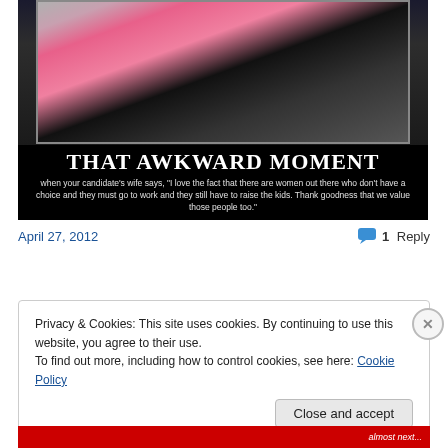[Figure (photo): Meme image showing a woman in pink jacket at a podium with text 'THAT AWKWARD MOMENT when your candidate’s wife says, “I love the fact that there are women out there who don’t have a choice and they must go to work and they still have to raise the kids. Thank goodness that we value those people too.”']
April 27, 2012
1 Reply
Privacy & Cookies: This site uses cookies. By continuing to use this website, you agree to their use.
To find out more, including how to control cookies, see here: Cookie Policy
Close and accept